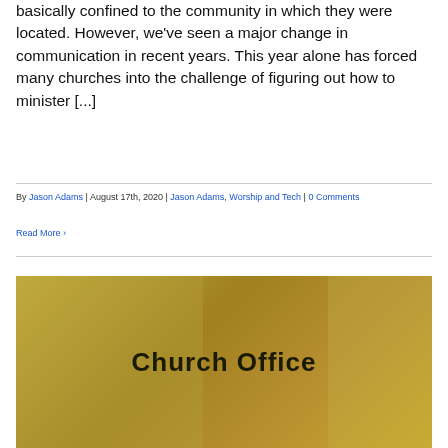basically confined to the community in which they were located. However, we've seen a major change in communication in recent years. This year alone has forced many churches into the challenge of figuring out how to minister [...]
By Jason Adams | August 17th, 2020 | Jason Adams, Worship and Tech | 0 Comments
Read More ›
[Figure (photo): A golden/yellow-tinted photo of a church office interior with the text 'Church Office' overlaid in bold dark text on top]